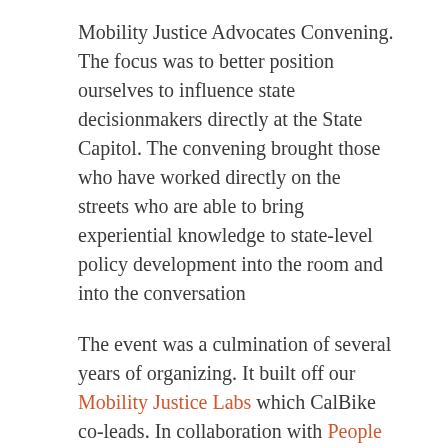Mobility Justice Advocates Convening. The focus was to better position ourselves to influence state decisionmakers directly at the State Capitol. The convening brought those who have worked directly on the streets who are able to bring experiential knowledge to state-level policy development into the room and into the conversation
The event was a culmination of several years of organizing. It built off our Mobility Justice Labs which CalBike co-leads. In collaboration with People for Mobility Justice, PolicyLink, Public Advocates, and Cal Walks, these convening efforts are central to building powerful new alliances at multiple scales.
The event was a huge success! The participants shared the goal of establishing a mobility justice framework that we can organize around together and separately. A shared framework will solidify the